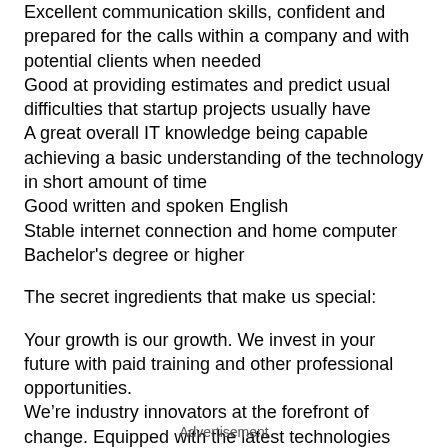Excellent communication skills, confident and prepared for the calls within a company and with potential clients when needed
Good at providing estimates and predict usual difficulties that startup projects usually have
A great overall IT knowledge being capable achieving a basic understanding of the technology in short amount of time
Good written and spoken English
Stable internet connection and home computer
Bachelor's degree or higher
The secret ingredients that make us special:
Your growth is our growth. We invest in your future with paid training and other professional opportunities.
We’re industry innovators at the forefront of change. Equipped with the latest technologies and a team of knowledgeable colleagues by your side, you’ll embrace new and interesting challenges.
Your location. Your schedule — Pick your time-zone, choose your preferred hours, and work from the place where you feel most at home.
Advertisement